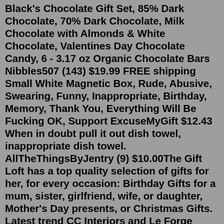Black's Chocolate Gift Set, 85% Dark Chocolate, 70% Dark Chocolate, Milk Chocolate with Almonds & White Chocolate, Valentines Day Chocolate Candy, 6 - 3.17 oz Organic Chocolate Bars Nibbles507 (143) $19.99 FREE shipping Small White Magnetic Box, Rude, Abusive, Swearing, Funny, Inappropriate, Birthday, Memory, Thank You, Everything Will Be Fucking OK, Support ExcuseMyGift $12.43 When in doubt pull it out dish towel, inappropriate dish towel. AllTheThingsByJentry (9) $10.00The Gift Loft has a top quality selection of gifts for her, for every occasion: Birthday Gifts for a mum, sister, girlfriend, wife, or daughter, Mother's Day presents, or Christmas Gifts. Latest trend CC Interiors and Le Forge homeware gift ideas, Stella + Gemma fashion accessories, including scarves and jewellery, Le Creuset kitchenware, all ...1. Sexy Dice Game. The bride-to-be and her husband will thank you for this naughty bachelorette gift. These sexy dice are the secret weapon to a busy bedroom. This dice set comes with 2 12-sided sex position dice, one 10-sided body